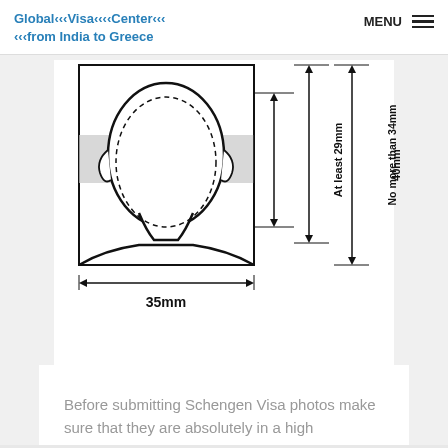Global‹‹‹Visa‹‹‹‹Center‹‹‹ ‹‹‹from India to Greece | MENU
[Figure (engineering-diagram): Passport photo dimension diagram showing a front-facing human head outline inside a rectangular border. Dashed oval shows face region. Grey band across eyes/forehead area. Dimension arrows indicate: 35mm width, At least 29mm face height, No more than 34mm face height, 40mm total photo height.]
Before submitting Schengen Visa photos make sure that they are absolutely in a high